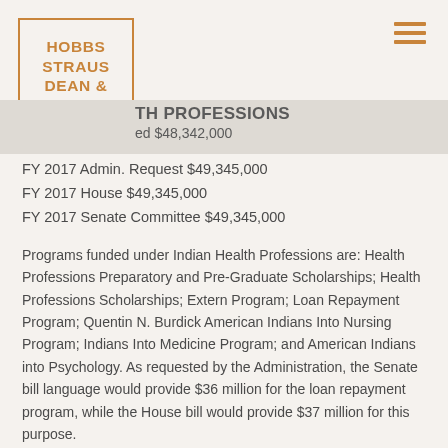[Figure (logo): Hobbs Straus Dean & Walker law firm logo — orange bordered box with firm name in bold orange text]
TH PROFESSIONS
ed $48,342,000
FY 2017 Admin. Request $49,345,000
FY 2017 House $49,345,000
FY 2017 Senate Committee $49,345,000
Programs funded under Indian Health Professions are: Health Professions Preparatory and Pre-Graduate Scholarships; Health Professions Scholarships; Extern Program; Loan Repayment Program; Quentin N. Burdick American Indians Into Nursing Program; Indians Into Medicine Program; and American Indians into Psychology. As requested by the Administration, the Senate bill language would provide $36 million for the loan repayment program, while the House bill would provide $37 million for this purpose.